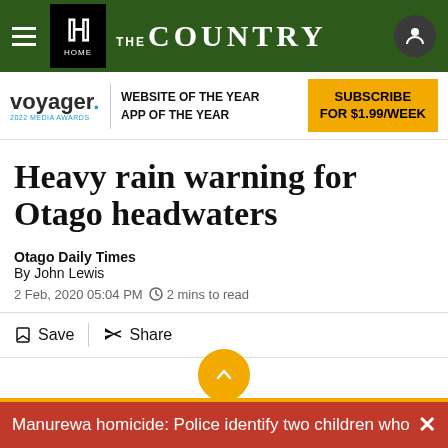THE COUNTRY — Home
[Figure (screenshot): Voyager 2022 Media Awards banner: WEBSITE OF THE YEAR, APP OF THE YEAR with a SUBSCRIBE FOR $1.99/WEEK yellow button]
Heavy rain warning for Otago headwaters
Otago Daily Times
By John Lewis
2 Feb, 2020 05:04 PM  2 mins to read
Save  Share
Manurewa homicide: Police identify two children whose